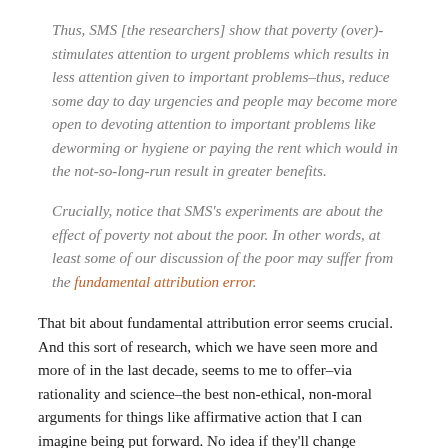Thus, SMS [the researchers] show that poverty (over)-stimulates attention to urgent problems which results in less attention given to important problems–thus, reduce some day to day urgencies and people may become more open to devoting attention to important problems like deworming or hygiene or paying the rent which would in the not-so-long-run result in greater benefits.
Crucially, notice that SMS's experiments are about the effect of poverty not about the poor. In other words, at least some of our discussion of the poor may suffer from the fundamental attribution error.
That bit about fundamental attribution error seems crucial. And this sort of research, which we have seen more and more of in the last decade, seems to me to offer–via rationality and science–the best non-ethical, non-moral arguments for things like affirmative action that I can imagine being put forward. No idea if they'll change anyone's mind but it's good to know, as